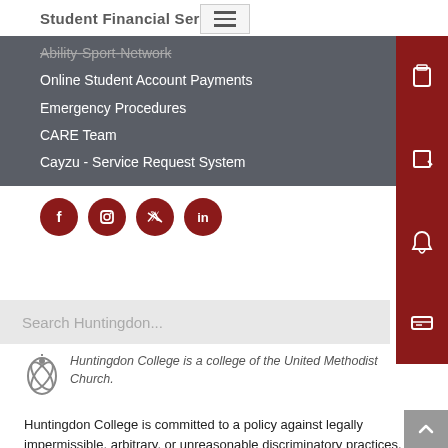Student Financial Services
Ability-Spot-Network (faded/strikethrough)
Online Student Account Payments
Emergency Procedures
CARE Team
Cayzu - Service Request System
[Figure (infographic): Four circular social media icons: Facebook, Instagram, Twitter, LinkedIn — all dark red on dark background]
webmaster@hawks.huntingdon.edu
Search Huntingdon...
Huntingdon College is a college of the United Methodist Church.
Huntingdon College is committed to a policy against legally impermissible, arbitrary, or unreasonable discriminatory practices. Therefore, Huntingdon College, in accordance with Title IX and Section 106.8 of the 2020 Final Rule under Title IX of the Education Amendments of 1972, other applicable federal and state law, and